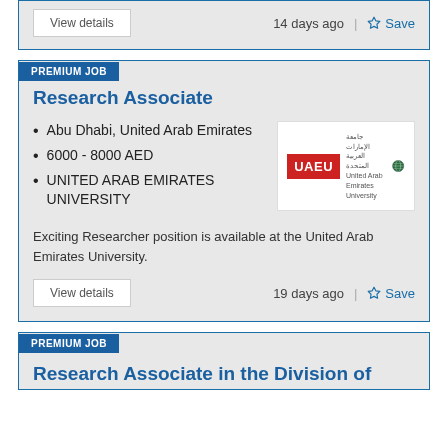View details    14 days ago   Save
PREMIUM JOB
Research Associate
Abu Dhabi, United Arab Emirates
6000 - 8000 AED
UNITED ARAB EMIRATES UNIVERSITY
[Figure (logo): UAEU - United Arab Emirates University logo with red UAEU wordmark and Arabic text]
Exciting Researcher position is available at the United Arab Emirates University.
View details    19 days ago   Save
PREMIUM JOB
Research Associate in the Division of